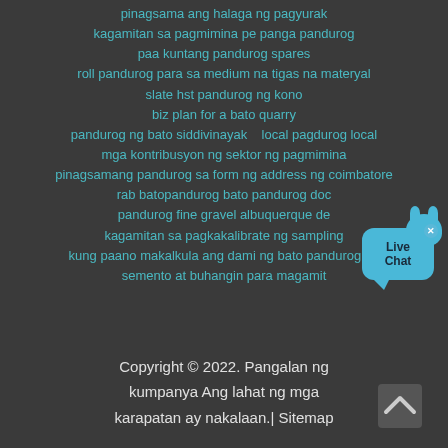pinagsama ang halaga ng pagyurak
kagamitan sa pagmimina pe panga pandurog
paa kuntang pandurog spares
roll pandurog para sa medium na tigas na materyal
slate hst pandurog ng kono
biz plan for a bato quarry
pandurog ng bato siddivinayak    local pagdurog local
mga kontribusyon ng sektor ng pagmimina
pinagsamang pandurog sa form ng address ng coimbatore
rab batopandurog bato pandurog doc
pandurog fine gravel albuquerque de
kagamitan sa pagkakalibrate ng sampling
kung paano makalkula ang dami ng bato pandurog na semento at buhangin para magamit
[Figure (other): Live Chat widget button with blue chat bubble and mascot icon with close X button]
Copyright © 2022. Pangalan ng kumpanya Ang lahat ng mga karapatan ay nakalaan.| Sitemap